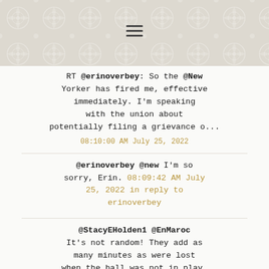hamburger menu icon
RT @erinoverbey: So the @New Yorker has fired me, effective immediately. I'm speaking with the union about potentially filing a grievance o... 08:10:00 AM July 25, 2022
@erinoverbey @new I'm so sorry, Erin. 08:09:42 AM July 25, 2022 in reply to erinoverbey
@StacyEHolden1 @EnMaroc It's not random! They add as many minutes as were lost when the ball was not in play. 06:29:09 PM July 23, 2022 in reply to StacyEHolden1
@paperhaus Happy birthday